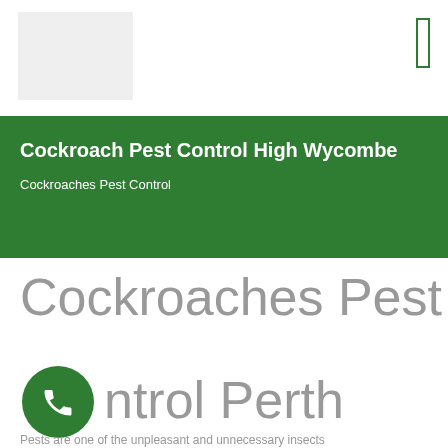[Figure (logo): Website header area with logo placeholder and navigation icon on the right]
Cockroach Pest Control High Wycombe
Cockroaches Pest Control
Cockroaches Pest Control Perth
Pests are one of the unpleasant and unnecessary insects